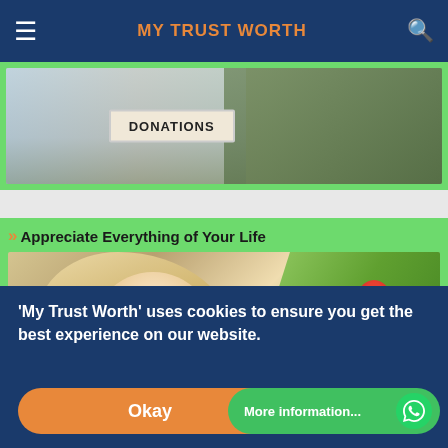MY TRUST WORTH
[Figure (photo): Photo of a donations cardboard box with people in background]
[Figure (photo): Photo of a young blonde woman smelling red flowers with green foliage]
Appreciate Everything of Your Life
Scroll: 77%
'My Trust Worth' uses cookies to ensure you get the best experience on our website.
Okay
More information...